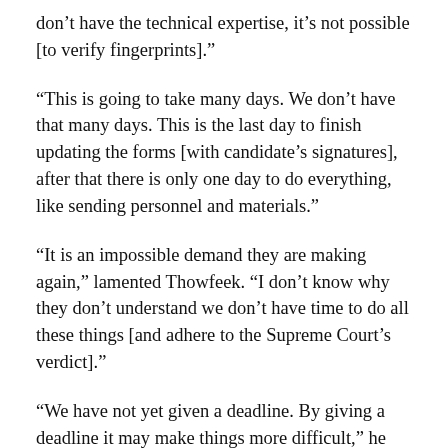don’t have the technical expertise, it’s not possible [to verify fingerprints].”
“This is going to take many days. We don’t have that many days. This is the last day to finish updating the forms [with candidate’s signatures], after that there is only one day to do everything, like sending personnel and materials.”
“It is an impossible demand they are making again,” lamented Thowfeek. “I don’t know why they don’t understand we don’t have time to do all these things [and adhere to the Supreme Court’s verdict].”
“We have not yet given a deadline. By giving a deadline it may make things more difficult,” he continued. “For example, if deadline of 12:00pm is given, and they don’t sign, then it may cause problems. The EC is willing to wait until last minute